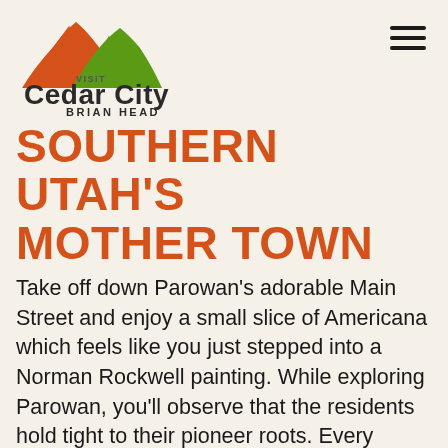[Figure (logo): Visit Cedar City Brian Head logo with orange and green mountain peaks above the text]
SOUTHERN UTAH'S MOTHER TOWN
Take off down Parowan's adorable Main Street and enjoy a small slice of Americana which feels like you just stepped into a Norman Rockwell painting. While exploring Parowan, you'll observe that the residents hold tight to their pioneer roots. Every corner of Parowan has a story to tell: the fully restored pioneer homes, Heritage Park, Old Rock Church, the pastoral Meeks Pond—all perfectly preserved through the love and care of the community. The preserved historic homes, buildings and heritage sites (over 40 of them) are all within